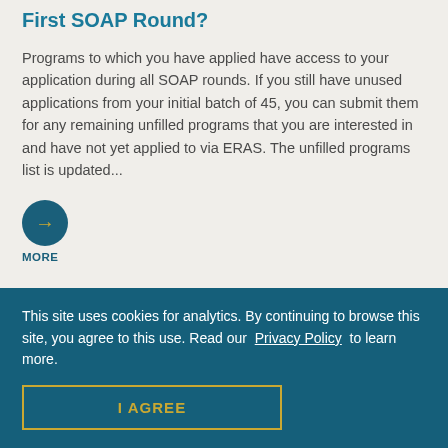First SOAP Round?
Programs to which you have applied have access to your application during all SOAP rounds. If you still have unused applications from your initial batch of 45, you can submit them for any remaining unfilled programs that you are interested in and have not yet applied to via ERAS. The unfilled programs list is updated...
MORE
SOAP | PARTIALLY MATCHED APPLICANTS |
This site uses cookies for analytics. By continuing to browse this site, you agree to this use. Read our Privacy Policy to learn more.
I AGREE